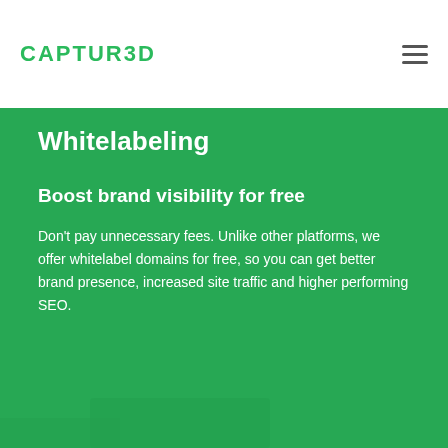CAPTUR3D
Whitelabeling
Boost brand visibility for free
Don’t pay unnecessary fees. Unlike other platforms, we offer whitelabel domains for free, so you can get better brand presence, increased site traffic and higher performing SEO.